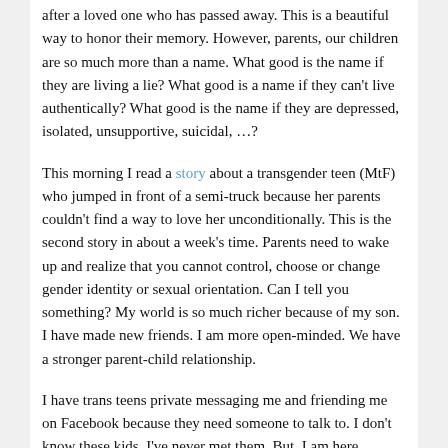after a loved one who has passed away. This is a beautiful way to honor their memory. However, parents, our children are so much more than a name. What good is the name if they are living a lie? What good is a name if they can't live authentically? What good is the name if they are depressed, isolated, unsupportive, suicidal, …?
This morning I read a story about a transgender teen (MtF) who jumped in front of a semi-truck because her parents couldn't find a way to love her unconditionally. This is the second story in about a week's time. Parents need to wake up and realize that you cannot control, choose or change gender identity or sexual orientation. Can I tell you something? My world is so much richer because of my son. I have made new friends. I am more open-minded. We have a stronger parent-child relationship.
I have trans teens private messaging me and friending me on Facebook because they need someone to talk to. I don't know these kids. I've never met them. But, I am here for them because maybe their parents aren't there for them.